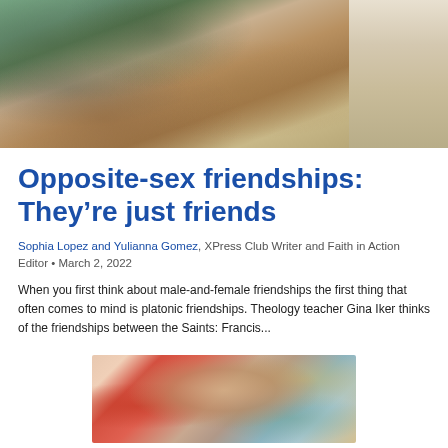[Figure (photo): Students standing outdoors, one holding a Nike water bottle, on a dirt/gravel background with plants. Another person visible on the right side.]
Opposite-sex friendships: They're just friends
Sophia Lopez and Yulianna Gomez, XPress Club Writer and Faith in Action Editor • March 2, 2022
When you first think about male-and-female friendships the first thing that often comes to mind is platonic friendships. Theology teacher Gina Iker thinks of the friendships between the Saints: Francis...
[Figure (photo): Close-up photo of a woman with dark hair pulled back, smiling, in front of a colorful floral background with red, pink, and teal colors. Gold foil decorations visible on the right.]